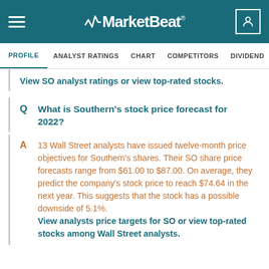MarketBeat
PROFILE | ANALYST RATINGS | CHART | COMPETITORS | DIVIDEND | EARNINGS
View SO analyst ratings or view top-rated stocks.
What is Southern's stock price forecast for 2022?
13 Wall Street analysts have issued twelve-month price objectives for Southern's shares. Their SO share price forecasts range from $61.00 to $87.00. On average, they predict the company's stock price to reach $74.64 in the next year. This suggests that the stock has a possible downside of 5.1%. View analysts price targets for SO or view top-rated stocks among Wall Street analysts.